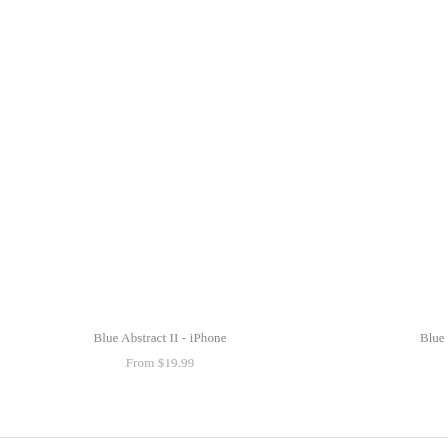Blue Abstract II - iPhone
From $19.99
Blue